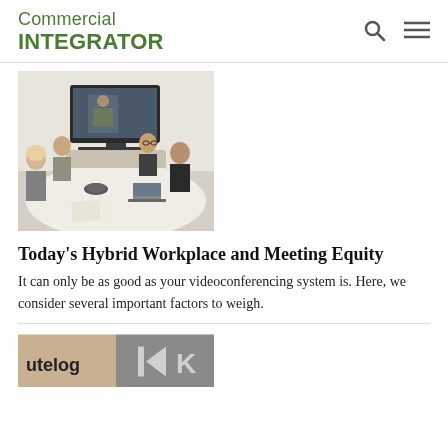Commercial INTEGRATOR
[Figure (photo): People sitting around a conference table with a video screen showing a video call]
Today's Hybrid Workplace and Meeting Equity
It can only be as good as your videoconferencing system is. Here, we consider several important factors to weigh.
[Figure (photo): Partial logos — 'utelog' and a Kramer-style logo with an arrow/rewind symbol]